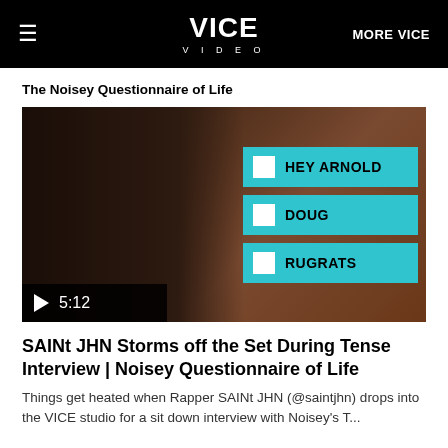VICE VIDEO | MORE VICE
The Noisey Questionnaire of Life
[Figure (screenshot): Video thumbnail showing a man with dreadlocks looking serious, with quiz options overlay showing HEY ARNOLD, DOUG, and RUGRATS in cyan boxes with checkboxes, and a play button with 5:12 timestamp at the bottom left]
SAINt JHN Storms off the Set During Tense Interview | Noisey Questionnaire of Life
Things get heated when Rapper SAINt JHN (@saintjhn) drops into the VICE studio for a sit down interview with Noisey's T...